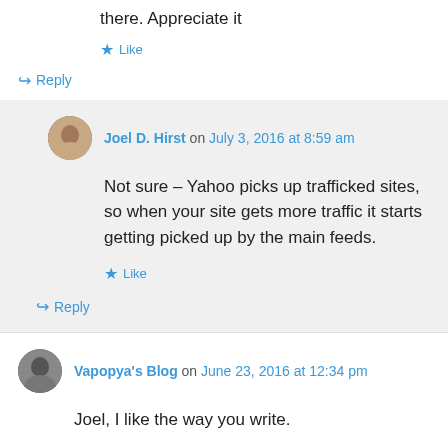there. Appreciate it
★ Like
↪ Reply
Joel D. Hirst on July 3, 2016 at 8:59 am
Not sure – Yahoo picks up trafficked sites, so when your site gets more traffic it starts getting picked up by the main feeds.
★ Like
↪ Reply
Vapopya's Blog on June 23, 2016 at 12:34 pm
Joel, I like the way you write.